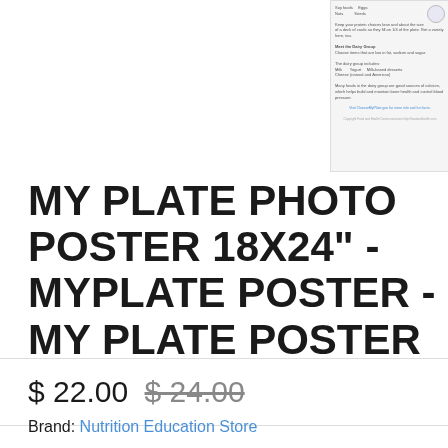[Figure (photo): Small thumbnail preview of a MyPlate nutrition poster showing food groups, dairy group information, and a ChooseMyPlate.gov reference]
MY PLATE PHOTO POSTER 18X24" - MYPLATE POSTER - MY PLATE POSTER
$ 22.00  $ 24.00
Brand: Nutrition Education Store
SKU: S-31111